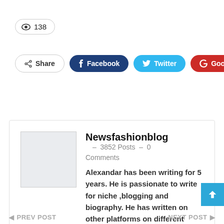👁 138
Share  Facebook  Twitter  Google+  +
Newsfashionblog  – 3852 Posts  – 0 Comments
Alexandar has been writing for 5 years. He is passionate to write for niche ,blogging and biography. He has written on other platforms on different niches.
◀ PREV POST    NEXT POST ▶